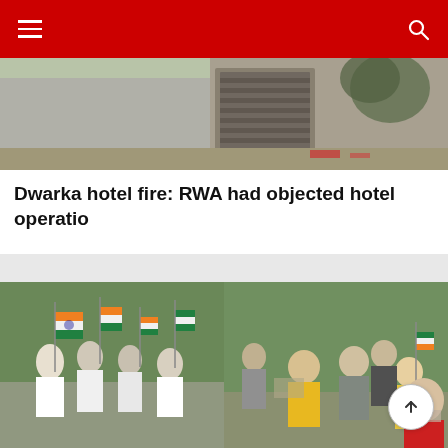Navigation bar with hamburger menu and search icon
[Figure (photo): Exterior view of a building with concrete wall and gate, street scene]
Dwarka hotel fire: RWA had objected hotel operatio
[Figure (photo): Two side-by-side photos of children and people marching with Indian tricolor flags during Independence Day celebration in Dwarka]
PHOTO KATHA: Dwarka celebrates 75th Independence D